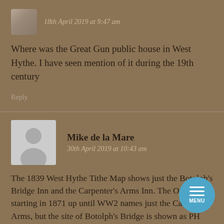18th April 2019 at 9:47 am
Where was the Great Gun public house in West Hythe. I have seen mention of it during the 19th century
Reply
Mike de la Mare
30th April 2019 at 10:43 am
The 1839 West Hythe Tithe Map shows just the Botolph's Bridge Inn and the Carpenter's Arms Inn. The OS maps, starting in 1871 up until WW2 names just the Carpenter's Arms, but the site of Botolph's Bridge is shown as PH (Public House) on the later maps. During this period West Hythe was only a handful of houses (not much more than ten), so two pubs is quite good going, even for a